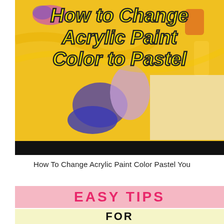[Figure (illustration): A painting image with yellow background and acrylic paint swatches in blue, purple, and yellow. Bold italic yellow text with black outline reads 'How to Change Acrylic Paint Color to Pastel'. A black bar runs along the bottom of the image.]
How To Change Acrylic Paint Color Pastel You
EASY TIPS
FOR